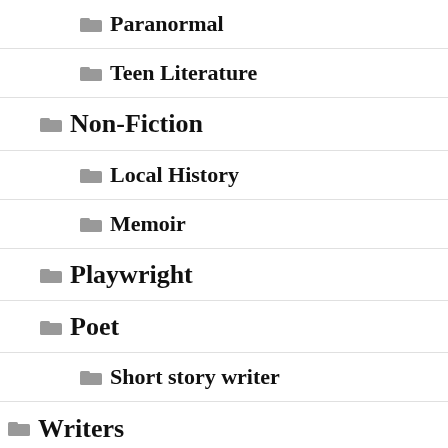Paranormal
Teen Literature
Non-Fiction
Local History
Memoir
Playwright
Poet
Short story writer
Writers